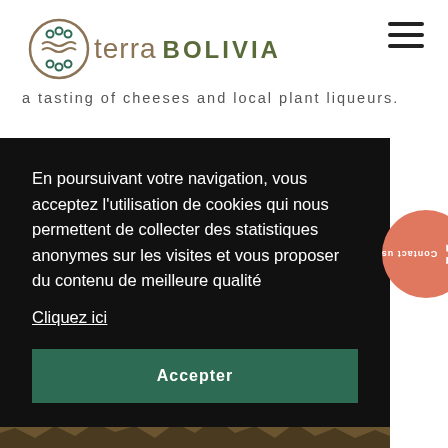[Figure (logo): Terra Bolivia logo with circular emblem featuring waves and dots, followed by 'terra BOLIVIA' text]
a tasting of cheeses and local plant liqueurs.
En poursuivant votre navigation, vous acceptez l'utilisation de cookies qui nous permettent de collecter des statistiques anonymes sur les visites et vous proposer du contenu de meilleure qualité
Cliquez ici
Accepter
[Figure (photo): Rocky landscape background photo at bottom of page]